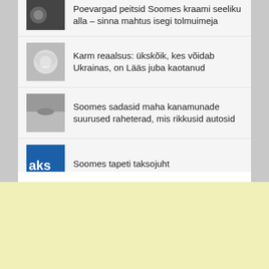Poevargad peitsid Soomes kraami seeliku alla – sinna mahtus isegi tolmuimeja
Karm reaalsus: ükskõik, kes võidab Ukrainas, on Lääs juba kaotanud
Soomes sadasid maha kanamunade suurused raheterad, mis rikkusid autosid
Soomes tapeti taksojuht
[Figure (other): Yellow advertisement placeholder block at the bottom of the page]